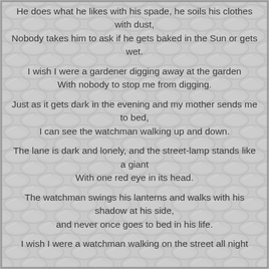He does what he likes with his spade, he soils his clothes with dust,
Nobody takes him to ask if he gets baked in the Sun or gets wet.
I wish I were a gardener digging away at the garden
With nobody to stop me from digging.
Just as it gets dark in the evening and my mother sends me to bed,
I can see the watchman walking up and down.
The lane is dark and lonely, and the street-lamp stands like a giant
With one red eye in its head.
The watchman swings his lanterns and walks with his shadow at his side,
and never once goes to bed in his life.
I wish I were a watchman walking on the street all night